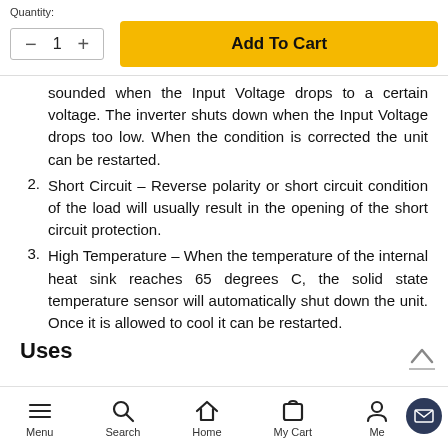Quantity:
— 1 +
Add To Cart
sounded when the Input Voltage drops to a certain voltage. The inverter shuts down when the Input Voltage drops too low. When the condition is corrected the unit can be restarted.
2. Short Circuit – Reverse polarity or short circuit condition of the load will usually result in the opening of the short circuit protection.
3. High Temperature – When the temperature of the internal heat sink reaches 65 degrees C, the solid state temperature sensor will automatically shut down the unit. Once it is allowed to cool it can be restarted.
Uses
Menu   Search   Home   My Cart   Me